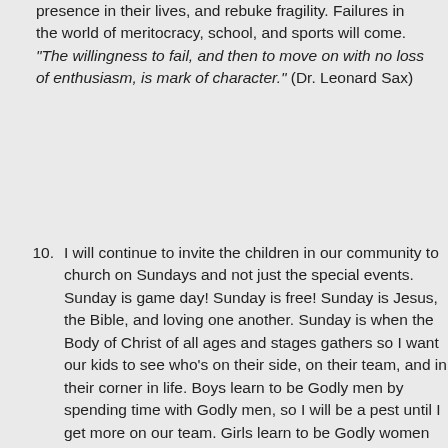presence in their lives, and rebuke fragility. Failures in the world of meritocracy, school, and sports will come. "The willingness to fail, and then to move on with no loss of enthusiasm, is mark of character." (Dr. Leonard Sax)
I will continue to invite the children in our community to church on Sundays and not just the special events. Sunday is game day! Sunday is free! Sunday is Jesus, the Bible, and loving one another. Sunday is when the Body of Christ of all ages and stages gathers so I want our kids to see who's on their side, on their team, and in their corner in life. Boys learn to be Godly men by spending time with Godly men, so I will be a pest until I get more on our team. Girls learn to be Godly women by spending time with Godly women, so I will give a platform to Titus 2 women to call back to those coming up behind them. At some point these 'girls of the church' will need a model for dealing with the tension of 'becoming